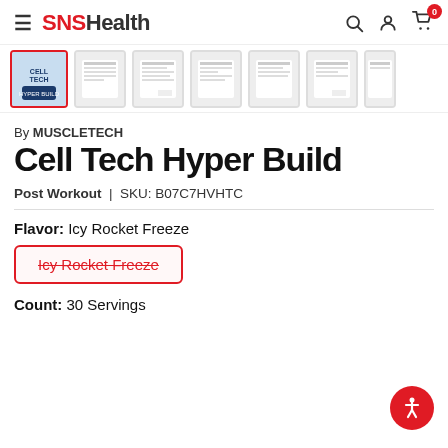SNSHealth — navigation header with search, user, and cart icons
[Figure (screenshot): Product image thumbnail strip showing Cell Tech Hyper Build supplement container from multiple angles. First thumbnail is active (red border).]
By MUSCLETECH
Cell Tech Hyper Build
Post Workout | SKU: B07C7HVHTC
Flavor: Icy Rocket Freeze
Icy Rocket Freeze (strikethrough button)
Count: 30 Servings